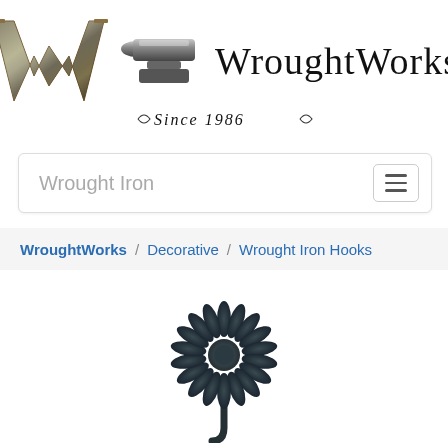[Figure (logo): WroughtWorks logo featuring a large ornate W with metallic sheen, a blacksmith anvil above, the text 'WroughtWorks' in serif font, and 'Since 1986' in italic script below]
Wrought Iron
WroughtWorks / Decorative / Wrought Iron Hooks
[Figure (photo): A wrought iron daisy/sunflower hook in dark matte black finish, showing the flower head at top and a curved hook stem below]